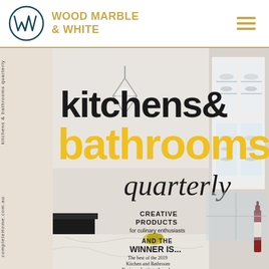[Figure (logo): Wood Marble & White logo: circle with stylized W lettermark in dark teal, brand name 'WOOD MARBLE & WHITE' in gold/bronze uppercase text beside it, hamburger menu icon in gold on the right]
[Figure (photo): Magazine cover of 'kitchens & bathrooms quarterly' showing a bright white kitchen interior with marble countertops, glass pendant light, white cabinetry with glass shelves displaying dishware. Cover text includes 'kitchens&' in black bold, 'bathrooms' in yellow/gold bold, 'quarterly' in light script, 'CREATIVE PRODUCTS for culinary enthusiasts', 'AND THE WINNER IS... The best of the 2019 Kitchen and Bathroom Designer Institute Awards'. Side text reads 'kitchens & bathrooms quarterly' vertically.]